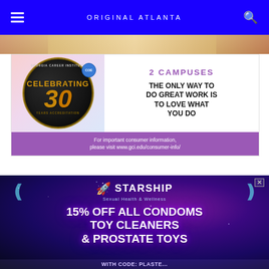ORIGINAL ATLANTA
[Figure (photo): Georgia Career Institute advertisement. Left side: circular black badge celebrating 30 years with accreditation, COE badge. Right side on white: '2 CAMPUSES' in purple, 'THE ONLY WAY TO DO GREAT WORK IS TO LOVE WHAT YOU DO' in black bold. Bottom purple banner: 'For important consumer information, please visit www.gci.edu/consumer-info/']
[Figure (photo): Starship Sexual Health & Wellness advertisement on dark purple/space background. Header: Starship logo with rocket icon and awareness ribbons. Main text: '15% OFF ALL CONDOMS TOY CLEANERS & PROSTATE TOYS'. Bottom text cut off: 'WITH CODE: PLASTOS' approximately.]